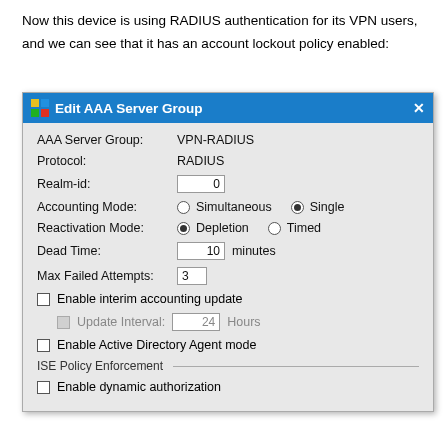Now this device is using RADIUS authentication for its VPN users, and we can see that it has an account lockout policy enabled:
[Figure (screenshot): Edit AAA Server Group dialog window showing RADIUS configuration. Fields include AAA Server Group: VPN-RADIUS, Protocol: RADIUS, Realm-id: 0, Accounting Mode: Single (selected), Reactivation Mode: Depletion (selected), Dead Time: 10 minutes, Max Failed Attempts: 3, Enable interim accounting update checkbox (unchecked), Update Interval: 24 Hours (grayed out), Enable Active Directory Agent mode checkbox (unchecked), ISE Policy Enforcement section header, Enable dynamic authorization checkbox (unchecked).]